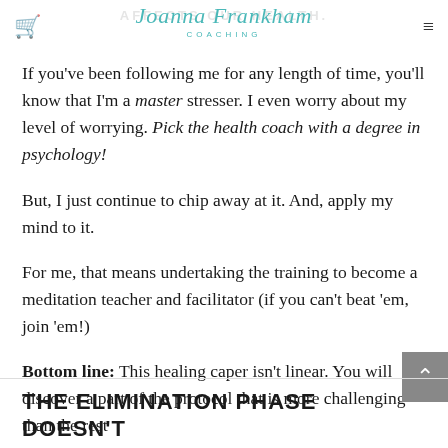Joanna Frankham Coaching
If you've been following me for any length of time, you'll know that I'm a master stresser. I even worry about my level of worrying. Pick the health coach with a degree in psychology!
But, I just continue to chip away at it. And, apply my mind to it.
For me, that means undertaking the training to become a meditation teacher and facilitator (if you can't beat 'em, join 'em!)
Bottom line: This healing caper isn't linear. You will discover a part of the protocol that is more challenging than the rest
THE ELIMINATION PHASE DOESN'T